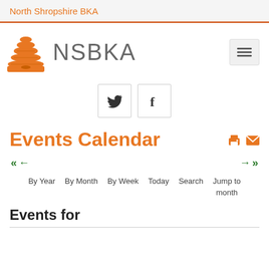North Shropshire BKA
[Figure (logo): NSBKA beehive logo with text 'NSBKA' and hamburger menu button]
[Figure (infographic): Social media icons: Twitter bird and Facebook 'f' in bordered boxes]
Events Calendar
Navigation arrows (left: double and single back arrows; right: single and double forward arrows)
By Year   By Month   By Week   Today   Search   Jump to month
Events for